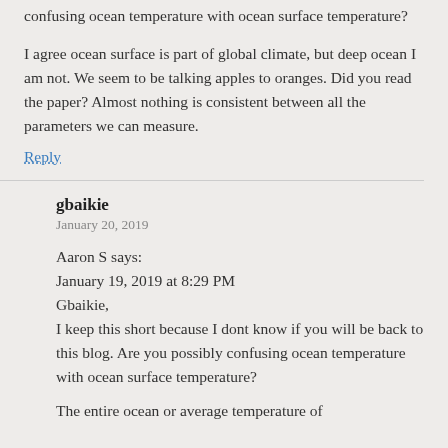confusing ocean temperature with ocean surface temperature?
I agree ocean surface is part of global climate, but deep ocean I am not. We seem to be talking apples to oranges. Did you read the paper? Almost nothing is consistent between all the parameters we can measure.
Reply
gbaikie
January 20, 2019
Aaron S says:
January 19, 2019 at 8:29 PM
Gbaikie,
I keep this short because I dont know if you will be back to this blog. Are you possibly confusing ocean temperature with ocean surface temperature?
The entire ocean or average temperature of